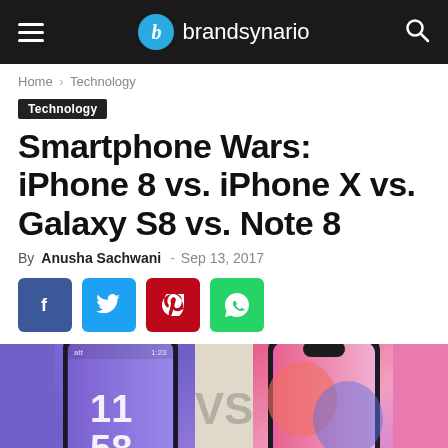brandsynario
Home › Technology
Technology
Smartphone Wars: iPhone 8 vs. iPhone X vs. Galaxy S8 vs. Note 8
By Anusha Sachwani - Sep 13, 2017
[Figure (other): Social share buttons: Facebook, Twitter, Pinterest, WhatsApp]
[Figure (photo): Comparison photo showing smartphones including iPhone 8, iPhone X with VS text overlay]